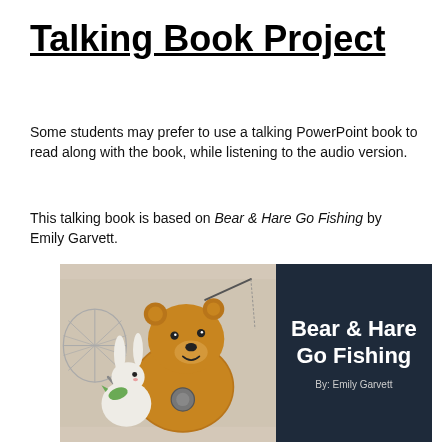Talking Book Project
Some students may prefer to use a talking PowerPoint book to read along with the book, while listening to the audio version.
This talking book is based on Bear & Hare Go Fishing by Emily Garvett.
[Figure (illustration): Book cover image showing a bear and hare with fishing equipment on the left (illustrated), and a dark navy panel on the right with text 'Bear & Hare Go Fishing' and 'By: Emily Garvett']